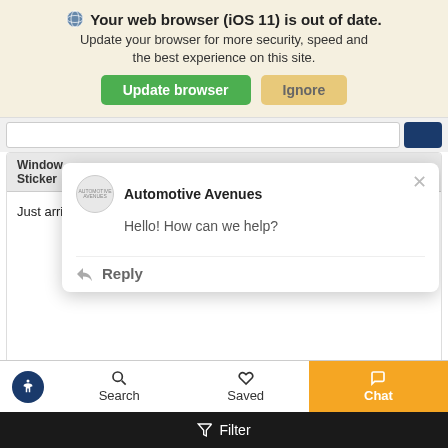Your web browser (iOS 11) is out of date. Update your browser for more security, speed and the best experience on this site.
Update browser | Ignore
Window Sticker
Just arrived is this acclaimed, NO-ACCIDENT, NONSMOKER,
[Figure (screenshot): Chat popup from Automotive Avenues with message 'Hello! How can we help?' and a Reply button]
Estimate
CLICK TO VIEW
Search
Saved
Chat
Filter